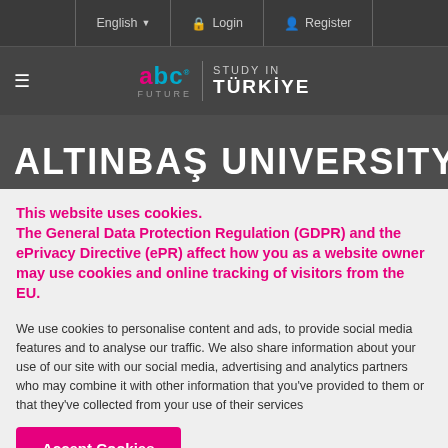English | Login | Register
[Figure (logo): abc FUTURE | STUDY IN TÜRKIYE logo on dark background with hamburger menu]
ALTINBAŞ UNIVERSITY
This website uses cookies.
The General Data Protection Regulation (GDPR) and the ePrivacy Directive (ePR) affect how you as a website owner may use cookies and online tracking of visitors from the EU.
We use cookies to personalise content and ads, to provide social media features and to analyse our traffic. We also share information about your use of our site with our social media, advertising and analytics partners who may combine it with other information that you've provided to them or that they've collected from your use of their services
Accept Cookies